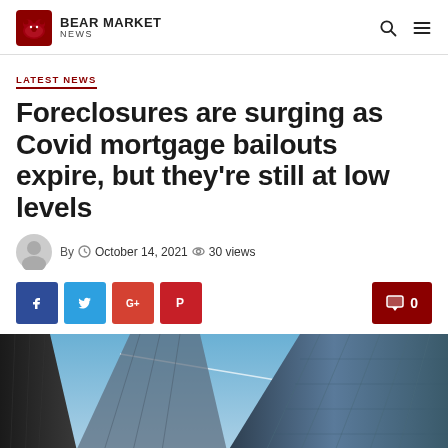BEAR MARKET NEWS
LATEST NEWS
Foreclosures are surging as Covid mortgage bailouts expire, but they’re still at low levels
By  ○ October 14, 2021  ◎ 30 views
[Figure (photo): Upward view of tall glass skyscrapers against a blue sky]